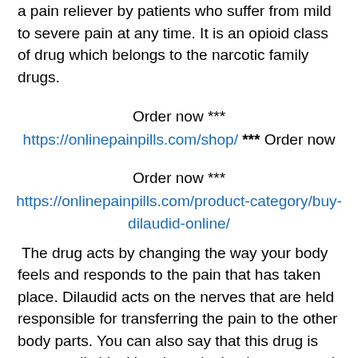a pain reliever by patients who suffer from mild to severe pain at any time. It is an opioid class of drug which belongs to the narcotic family drugs.
Order now *** https://onlinepainpills.com/shop/ *** Order now
Order now *** https://onlinepainpills.com/product-category/buy-dilaudid-online/
The drug acts by changing the way your body feels and responds to the pain that has taken place. Dilaudid acts on the nerves that are held responsible for transferring the pain to the other body parts. You can also say that this drug is supposedly blocking the pain that has emerged through the nerves.
People can buy Dilaudid from our website at any point of time. Dilaudid dosage depends upon the patient's condition and